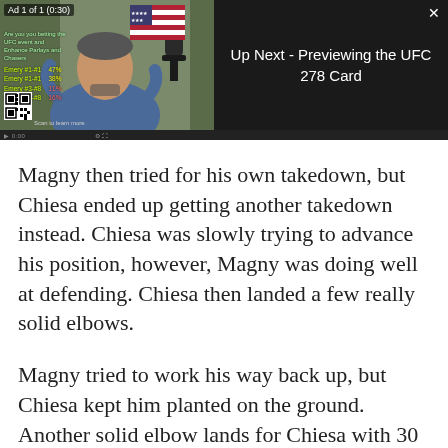[Figure (screenshot): Video player showing an ad (Ad 1 of 1, 0:30) with a man speaking, an American flag in background, a microphone, overlaid statistics in green text, a QR code, and an 'Up Next - Previewing the UFC 278 Card' panel on the right side with a close (x) button.]
Magny then tried for his own takedown, but Chiesa ended up getting another takedown instead. Chiesa was slowly trying to advance his position, however, Magny was doing well at defending. Chiesa then landed a few really solid elbows.
Magny tried to work his way back up, but Chiesa kept him planted on the ground. Another solid elbow lands for Chiesa with 30 seconds left in the round. It's 2-0 Chiesa after two in the UFC Fight Island 8 main event.